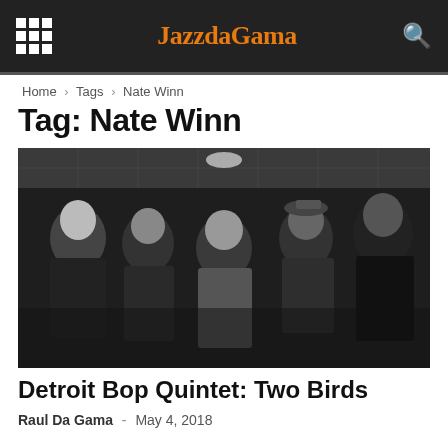JazzdaGama
Home › Tags › Nate Winn
Tag: Nate Winn
[Figure (photo): Black and white group photo of five men, members of the Detroit Bop Quintet, standing together in what appears to be an indoor venue with ceiling tiles.]
Detroit Bop Quintet: Two Birds
Raul Da Gama - May 4, 2018